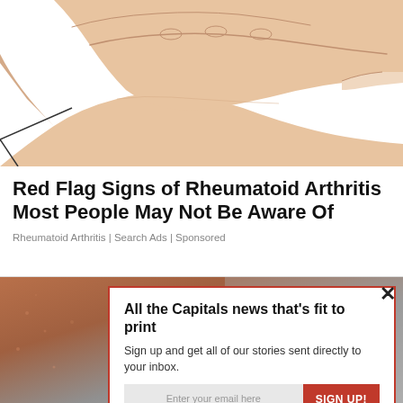[Figure (illustration): Illustrated hand with fingers pointing or pressing, medical illustration style showing a hand with detailed finger rendering on white background]
Red Flag Signs of Rheumatoid Arthritis Most People May Not Be Aware Of
Rheumatoid Arthritis | Search Ads | Sponsored
[Figure (photo): Background photo showing close-up of skin with small bumps, partially visible behind modal overlay]
All the Capitals news that's fit to print
Sign up and get all of our stories sent directly to your inbox.
Enter your email here
SIGN UP!
We respect your privacy and take protecting it seriously